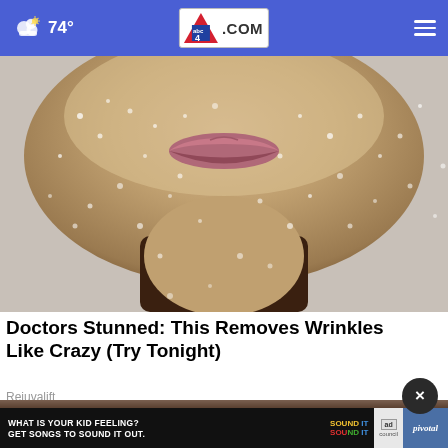74° abc4.com
[Figure (photo): Close-up photo of a person's lower face covered in sugar crystals/granules against a light background, showing lips and chin area with exfoliating sugar scrub texture]
Doctors Stunned: This Removes Wrinkles Like Crazy (Try Tonight)
Rejuvalift
[Figure (other): Ad banner: WHAT IS YOUR KID FEELING? GET SONGS TO SOUND IT OUT. — Sound It Out / Ad Council / pivotal]
[Figure (photo): Partial bottom image, partially visible]